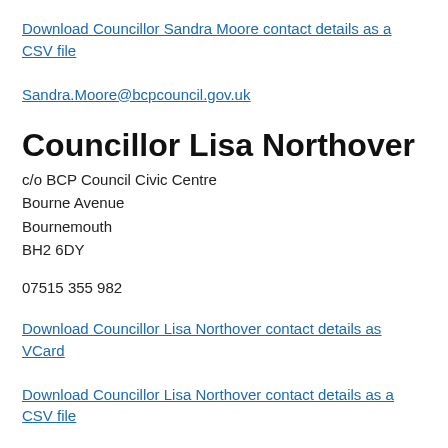Download Councillor Sandra Moore contact details as a CSV file
Sandra.Moore@bcpcouncil.gov.uk
Councillor Lisa Northover
c/o BCP Council Civic Centre
Bourne Avenue
Bournemouth
BH2 6DY
07515 355 982
Download Councillor Lisa Northover contact details as VCard
Download Councillor Lisa Northover contact details as a CSV file